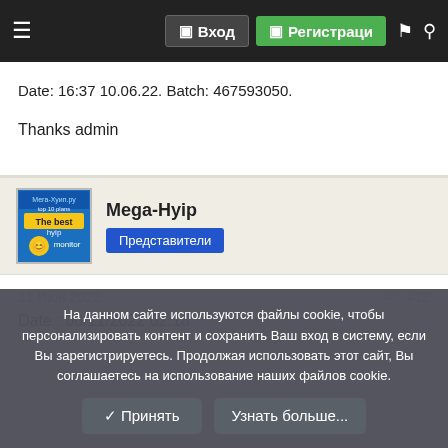≡  Вход  Регистраци
Date: 16:37 10.06.22. Batch: 467593050.
Thanks admin
Mega-Hyip  Представители
11 Июн 2022  #12
Date : 06/11/2022 02:18
На данном сайте используются файлы cookie, чтобы персонализировать контент и сохранить Ваш вход в систему, если Вы зарегистрируетесь. Продолжая использовать этот сайт, Вы соглашаетесь на использование наших файлов cookie.